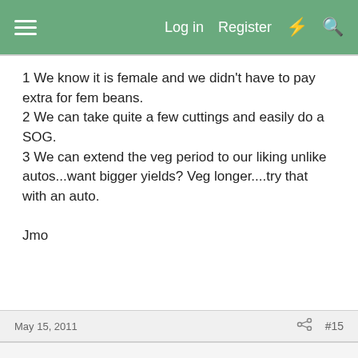≡  Log in  Register  ⚡  🔍
1 We know it is female and we didn't have to pay extra for fem beans.
2 We can take quite a few cuttings and easily do a SOG.
3 We can extend the veg period to our liking unlike autos...want bigger yields? Veg longer....try that with an auto.

Jmo
May 15, 2011  #15
woodydude
Guest
In my veg room just now, I have 31 plants growing, 22 of them are clones, mostly from seeds I grew. I like growing from both seed and clones and I see it as part